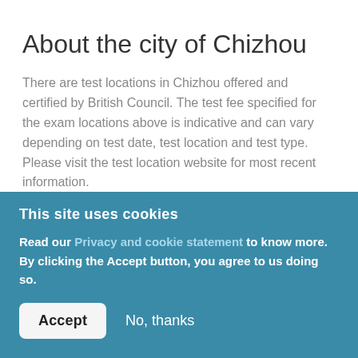About the city of Chizhou
There are test locations in Chizhou offered and certified by British Council. The test fee specified for the exam locations above is indicative and can vary depending on test date, test location and test type. Please visit the test location website for most recent information.
Make sure to prepare for the IELTS exam. Make sure you will get a good score on your test by selecting an English language program. Choose a top language school that can
This site uses cookies
Read our Privacy and cookie statement to know more. By clicking the Accept button, you agree to us doing so.
Accept   No, thanks